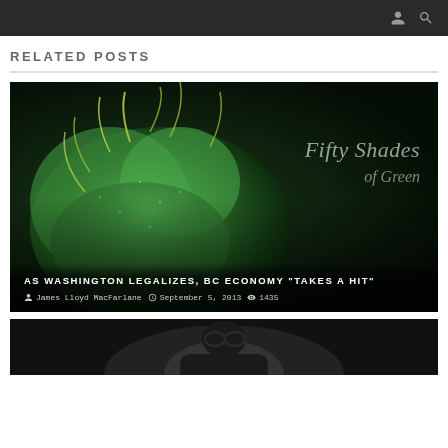RELATED POSTS
[Figure (photo): Cannabis flower close-up with text overlay reading 'Fifty Shades of Green', article headline 'AS WASHINGTON LEGALIZES, BC ECONOMY "TAKES A HIT"', byline James Lloyd MacFarlane, date September 5, 2013, views 1435]
[Figure (photo): Partial view of second related post image showing a person in dark clothing]